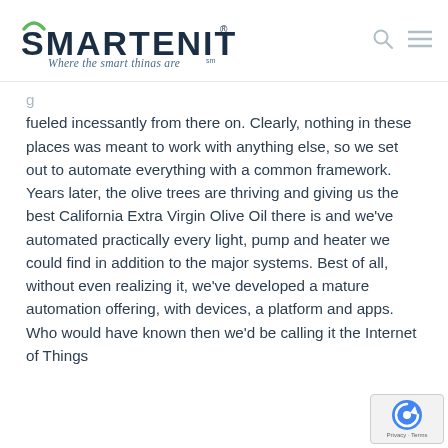[Figure (logo): Smartenit logo with arc above S, tagline 'Where the smart things are' with service mark, search and hamburger menu icons]
fueled incessantly from there on. Clearly, nothing in these places was meant to work with anything else, so we set out to automate everything with a common framework. Years later, the olive trees are thriving and giving us the best California Extra Virgin Olive Oil there is and we've automated practically every light, pump and heater we could find in addition to the major systems. Best of all, without even realizing it, we've developed a mature automation offering, with devices, a platform and apps. Who would have known then we'd be calling it the Internet of Things